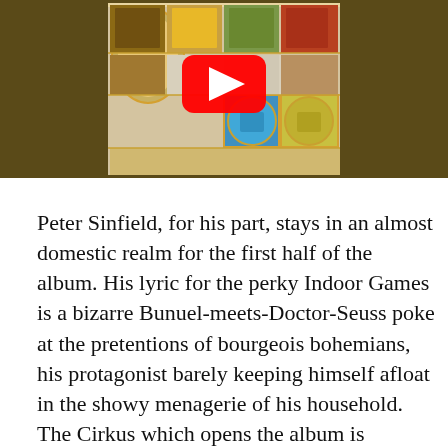[Figure (screenshot): YouTube video thumbnail showing illuminated manuscript-style artwork with colorful decorated letters and scenes. A large red YouTube play button overlay is centered on the thumbnail. The background is dark olive/brown.]
Peter Sinfield, for his part, stays in an almost domestic realm for the first half of the album. His lyric for the perky Indoor Games is a bizarre Bunuel-meets-Doctor-Seuss poke at the pretentions of bourgeois bohemians, his protagonist barely keeping himself afloat in the showy menagerie of his household. The Cirkus which opens the album is reached in a dream-voyage, a gaudy cruel entertainment which immediately succumbs to stampede